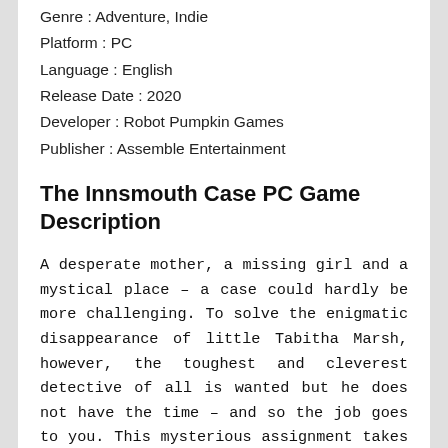Genre : Adventure, Indie
Platform : PC
Language : English
Release Date : 2020
Developer : Robot Pumpkin Games
Publisher : Assemble Entertainment
The Innsmouth Case PC Game Description
A desperate mother, a missing girl and a mystical place – a case could hardly be more challenging. To solve the enigmatic disappearance of little Tabitha Marsh, however, the toughest and cleverest detective of all is wanted but he does not have the time – and so the job goes to you. This mysterious assignment takes you to the remote fishing village of Innsmouth, where nothing is what it